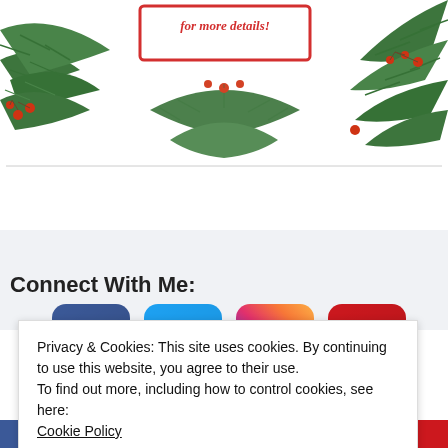[Figure (illustration): Holiday decorative image with pine/fir branches, red berries, and a red-bordered text box saying 'for more details!' on a white background]
Connect With Me:
[Figure (infographic): Row of four social media icons: Facebook (blue), Twitter (blue), Instagram (gradient), YouTube (red)]
Privacy & Cookies: This site uses cookies. By continuing to use this website, you agree to their use.
To find out more, including how to control cookies, see here:
Cookie Policy
Close and accept